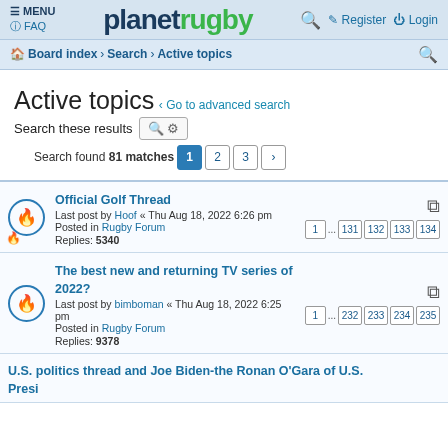planet rugby — Board index › Search › Active topics — FAQ | Register | Login
Active topics
< Go to advanced search
Search these results
Search found 81 matches  1  2  3  >
Official Golf Thread — Last post by Hoof « Thu Aug 18, 2022 6:26 pm — Posted in Rugby Forum — Replies: 5340 — Pages: 1 ... 131 132 133 134
The best new and returning TV series of 2022? — Last post by bimboman « Thu Aug 18, 2022 6:25 pm — Posted in Rugby Forum — Replies: 9378 — Pages: 1 ... 232 233 234 235
U.S. politics thread and Joe Biden-the Ronan O'Gara of U.S. Presidents